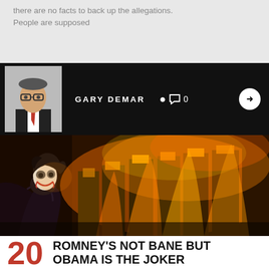there are no facts to back up the allegations. People are supposed
GARY DEMAR  0
[Figure (photo): A person in Joker costume and makeup standing in front of a large fire with stacks of burning money]
20 ROMNEY'S NOT BANE BUT OBAMA IS THE JOKER